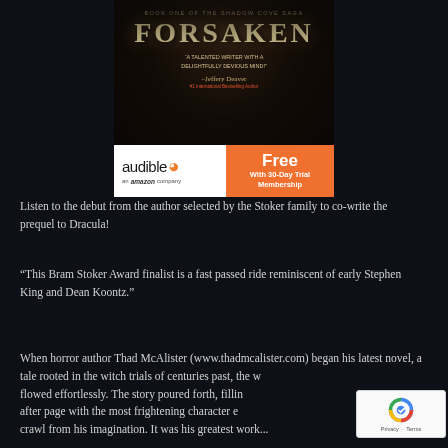[Figure (illustration): Book cover for 'Forsaken: Book One of the Shadow Cove Saga' with dark gothic imagery of bare trees against a stormy sky. Quote from Jeffery Deaver: 'A talented writer with a delightfully devious mind!']
[Figure (logo): Audible (an Amazon company) banner advertisement with orange signal icon. Orange button reads 'Free With 30-Day Trial Membership']
Listen to the debut from the author selected by the Stoker family to co-write the prequel to Dracula!
“This Bram Stoker Award finalist is a fast passed ride reminiscent of early Stephen King and Dean Koontz.”
When horror author Thad McAlister (www.thadmcalister.com) began his latest novel, a tale rooted in the witch trials of centuries past, the words flowed effortlessly. The story poured forth, filling page after page with the most frightening character ever to crawl from his imagination. It was his greatest work...